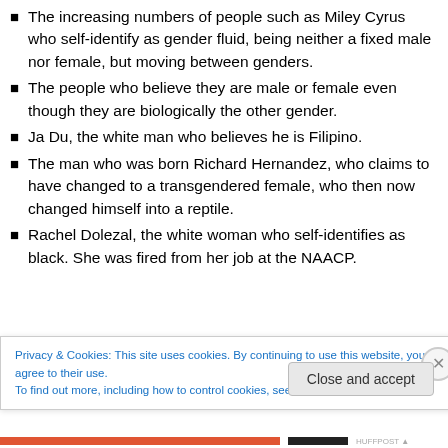The increasing numbers of people such as Miley Cyrus who self-identify as gender fluid, being neither a fixed male nor female, but moving between genders.
The people who believe they are male or female even though they are biologically the other gender.
Ja Du, the white man who believes he is Filipino.
The man who was born Richard Hernandez, who claims to have changed to a transgendered female, who then now changed himself into a reptile.
Rachel Dolezal, the white woman who self-identifies as black. She was fired from her job at the NAACP.
Privacy & Cookies: This site uses cookies. By continuing to use this website, you agree to their use.
To find out more, including how to control cookies, see here: Cookie Policy
Close and accept